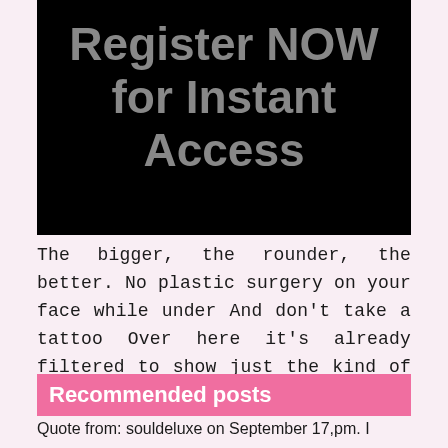[Figure (other): Black banner with large gray text reading 'Register NOW for Instant Access']
The bigger, the rounder, the better. No plastic surgery on your face while under And don't take a tattoo Over here it's already filtered to show just the kind of girls I like.
Recommended posts
Quote from: souldeluxe on September 17,pm. I